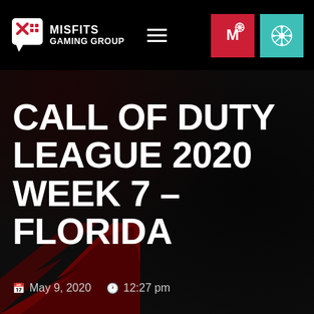[Figure (logo): Misfits Gaming Group logo with two icons and text MISFITS GAMING GROUP in white on black header bar, hamburger menu icon, and two team icons (red with M logo, teal with snowflake/spider logo)]
CALL OF DUTY LEAGUE 2020 WEEK 7 – FLORIDA
May 9, 2020  12:27 pm